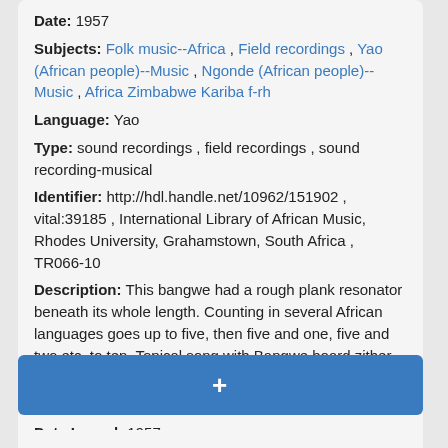Date: 1957
Subjects: Folk music--Africa , Field recordings , Yao (African people)--Music , Ngonde (African people)--Music , Africa Zimbabwe Kariba f-rh
Language: Yao
Type: sound recordings , field recordings , sound recording-musical
Identifier: http://hdl.handle.net/10962/151902 , vital:39185 , International Library of African Music, Rhodes University, Grahamstown, South Africa , TR066-10
Description: This bangwe had a rough plank resonator beneath its whole length. Counting in several African languages goes up to five, then five and one, five and two etc. to ten. Topical song with Bangwe board zither, with resonator.
Full Text: false
Date Issued: 1957